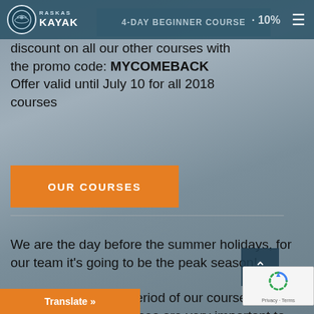[Figure (logo): Raskas Kayak logo with circular emblem and brand name]
4-DAY BEGINNER COURSE · 10%
discount on all our other courses with the promo code: MYCOMEBACK Offer valid until July 10 for all 2018 courses
OUR COURSES
We are the day before the summer holidays, for our team it's going to be the peak season!
Summer is also the period of our courses over 2 to 5 days. These courses are very important to us because they allow us, with you, to consider the differently than the tourist days